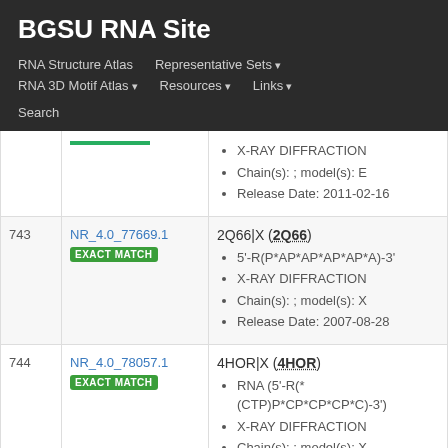BGSU RNA Site
RNA Structure Atlas | Representative Sets ▾ | RNA 3D Motif Atlas ▾ | Resources ▾ | Links ▾ | Search
X-RAY DIFFRACTION
Chain(s): ; model(s): E
Release Date: 2011-02-16
| # | ID | Details |
| --- | --- | --- |
| 743 | NR_4.0_77669.1
EXACT MATCH | 2Q66|X (2Q66)
5'-R(P*AP*AP*AP*AP*A)-3'
X-RAY DIFFRACTION
Chain(s): ; model(s): X
Release Date: 2007-08-28 |
| 744 | NR_4.0_78057.1
EXACT MATCH | 4HOR|X (4HOR)
RNA (5'-R(*(CTP)P*CP*CP*CP*C)-3')
X-RAY DIFFRACTION
Chain(s): ; model(s): X
Release Date: 2013-01-23 |